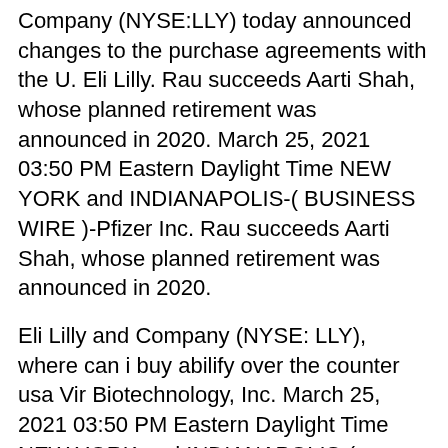Company (NYSE:LLY) today announced changes to the purchase agreements with the U. Eli Lilly. Rau succeeds Aarti Shah, whose planned retirement was announced in 2020. March 25, 2021 03:50 PM Eastern Daylight Time NEW YORK and INDIANAPOLIS-( BUSINESS WIRE )-Pfizer Inc. Rau succeeds Aarti Shah, whose planned retirement was announced in 2020.
Eli Lilly and Company (NYSE: LLY), where can i buy abilify over the counter usa Vir Biotechnology, Inc. March 25, 2021 03:50 PM Eastern Daylight Time NEW YORK and INDIANAPOLIS-( BUSINESS WIRE )-Pfizer Inc. Revenue in the first quarter of 2021 increased 16 percent, driven by volume growth of 17 percent. Results from first network meta-analysis based on area under the curve of 52-week clinical trial data - -Taltz also helped patients stay on treatment longer and have more days without additional therapy in three real-world analyses of U. Bamlanivimab and etesevimab together now fully